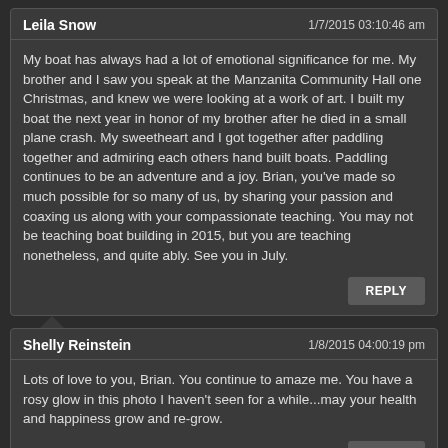Leila Snow | 1/7/2015 03:10:46 am
My boat has always had a lot of emotional significance for me. My brother and I saw you speak at the Manzanita Community Hall one Christmas, and knew we were looking at a work of art. I built my boat the next year in honor of my brother after he died in a small plane crash. My sweetheart and I got together after paddling together and admiring each others hand built boats. Paddling continues to be an adventure and a joy. Brian, you've made so much possible for so many of us, by sharing your passion and coaxing us along with your compassionate teaching. You may not be teaching boat building in 2015, but you are teaching nonetheless, and quite ably. See you in July.
Shelly Reinstein | 1/8/2015 04:00:19 pm
Lots of love to you, Brian. You continue to amaze me. You have a rosy glow in this photo I haven't seen for a while...may your health and happiness grow and re-grow.